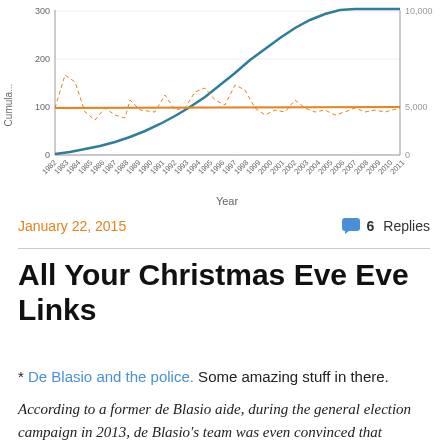[Figure (line-chart): Line chart showing cumulative data over years 1982-2011 with blue rising line and orange flat line, plus dashed orange fluctuating line. Left y-axis 0-300, right y-axis 0-10000.]
January 22, 2015   💬 6 Replies
All Your Christmas Eve Eve Links
* De Blasio and the police. Some amazing stuff in there.
According to a former de Blasio aide, during the general election campaign in 2013, de Blasio's team was even convinced that members of his police detail were eavesdropping on his private conversations in his city-